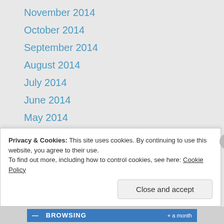November 2014
October 2014
September 2014
August 2014
July 2014
June 2014
May 2014
April 2014
March 2014
February 2014
January 2014
December 2013
November 2013
October 2013
Privacy & Cookies: This site uses cookies. By continuing to use this website, you agree to their use.
To find out more, including how to control cookies, see here: Cookie Policy
Close and accept